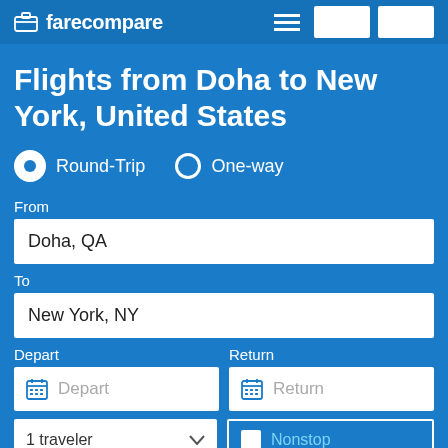farecompare
Flights from Doha to New York, United States
Round-Trip   One-way
From
Doha, QA
To
New York, NY
Depart
Return
Depart
Return
1 traveler
Nonstop